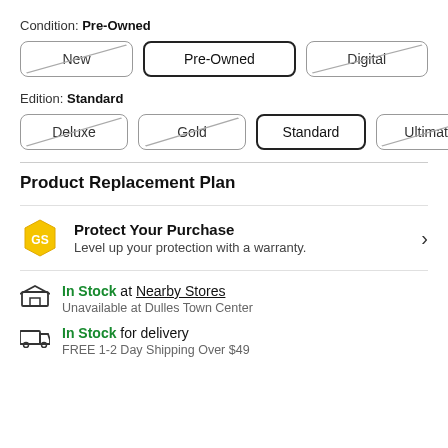Condition: Pre-Owned
[Figure (infographic): Three option buttons: New (crossed out), Pre-Owned (selected/bold border), Digital (crossed out)]
Edition: Standard
[Figure (infographic): Four option buttons: Deluxe (crossed out), Gold (crossed out), Standard (selected/bold border), Ultimate (crossed out)]
Product Replacement Plan
Protect Your Purchase
Level up your protection with a warranty.
In Stock at Nearby Stores
Unavailable at Dulles Town Center
In Stock for delivery
FREE 1-2 Day Shipping Over $49